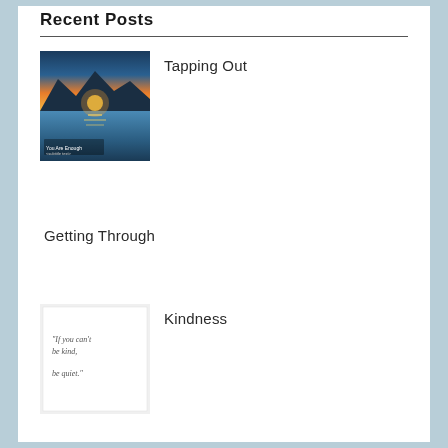Recent Posts
[Figure (photo): Mountain lake at sunset with blue sky and reflections on water]
Tapping Out
Getting Through
[Figure (illustration): White card with quote: "If you can't be kind, be quiet."]
Kindness